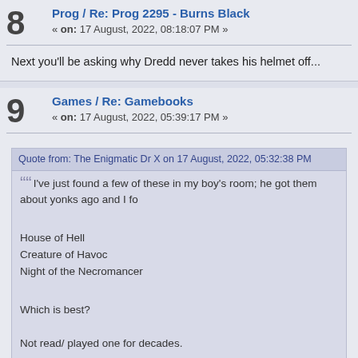8 Prog / Re: Prog 2295 - Burns Black « on: 17 August, 2022, 08:18:07 PM »
Next you'll be asking why Dredd never takes his helmet off...
9 Games / Re: Gamebooks « on: 17 August, 2022, 05:39:17 PM »
Quote from: The Enigmatic Dr X on 17 August, 2022, 05:32:38 PM
I've just found a few of these in my boy's room; he got them about yonks ago and I fo
House of Hell
Creature of Havoc
Night of the Necromancer
Which is best?
Not read/ played one for decades.
Night of the Necromancer, definitely! You play as a ghost, trying to a
Creature of Havoc good too, but pretty tough - basically impossible w